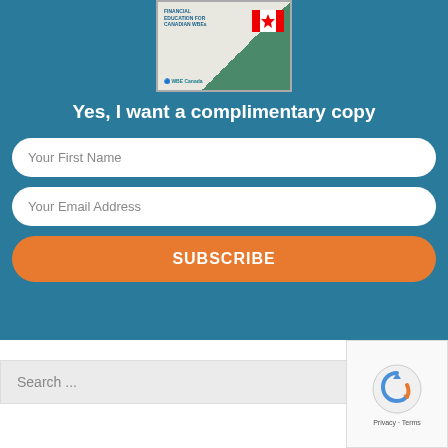[Figure (illustration): Book cover for 'Financial Education for Canadian WBEs' published by WBE Canada, with Canadian flag image]
Yes, I want a complimentary copy
Your First Name
Your Email Address
SUBSCRIBE
Search ...